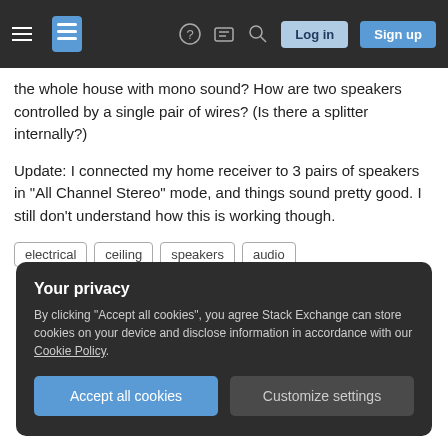Stack Exchange navigation bar with Log in and Sign up buttons
the whole house with mono sound? How are two speakers controlled by a single pair of wires? (Is there a splitter internally?)
Update: I connected my home receiver to 3 pairs of speakers in "All Channel Stereo" mode, and things sound pretty good. I still don't understand how this is working though.
electrical
ceiling
speakers
audio
Your privacy
By clicking “Accept all cookies”, you agree Stack Exchange can store cookies on your device and disclose information in accordance with our Cookie Policy.
Accept all cookies
Customize settings